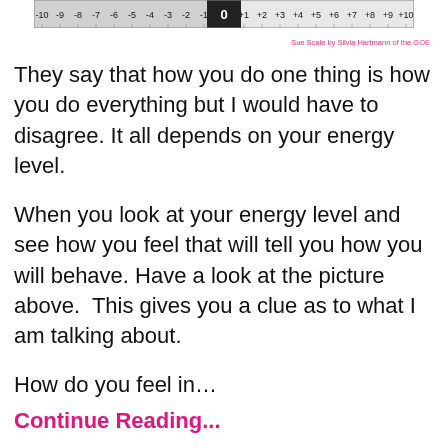[Figure (other): A horizontal numbered scale bar from -10 to +10 with 0 in the center, shown as a narrow ruler-style strip at the top of the page.]
Sue Scale by Silvia Hartmann of the GOE
They say that how you do one thing is how you do everything but I would have to disagree. It all depends on your energy level.
When you look at your energy level and see how you feel that will tell you how you will behave. Have a look at the picture above.  This gives you a clue as to what I am talking about.
How do you feel in…
Continue Reading...